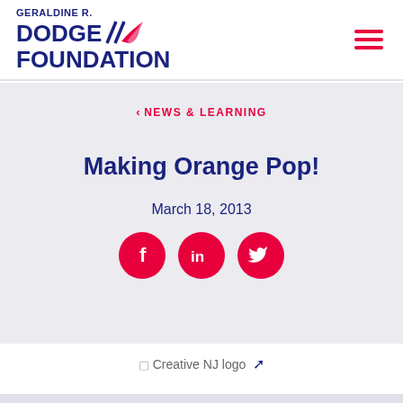[Figure (logo): Geraldine R. Dodge Foundation logo with decorative feather/flag graphic in red-pink, organization name in dark navy blue bold uppercase text]
[Figure (other): Hamburger menu icon with three horizontal red lines]
< NEWS & LEARNING
Making Orange Pop!
March 18, 2013
[Figure (infographic): Three red circular social media share buttons: Facebook (f), LinkedIn (in), Twitter (bird icon)]
[Figure (logo): Creative NJ logo image with external link icon]